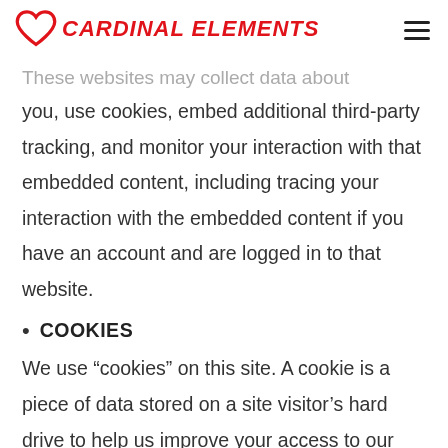CARDINAL ELEMENTS
These websites may collect data about you, use cookies, embed additional third-party tracking, and monitor your interaction with that embedded content, including tracing your interaction with the embedded content if you have an account and are logged in to that website.
COOKIES
We use “cookies” on this site. A cookie is a piece of data stored on a site visitor’s hard drive to help us improve your access to our